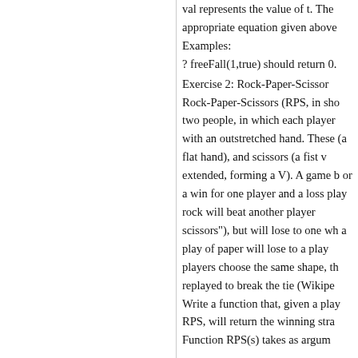val represents the value of t. The appropriate equation given above
Examples:
? freeFall(1,true) should return 0.
Exercise 2: Rock-Paper-Scissor
Rock-Paper-Scissors (RPS, in sho two people, in which each player with an outstretched hand. These (a flat hand), and scissors (a fist v extended, forming a V). A game b or a win for one player and a loss play rock will beat another player scissors"), but will lose to one wh a play of paper will lose to a play players choose the same shape, th replayed to break the tie (Wikipe Write a function that, given a play RPS, will return the winning stra
Function RPS(s) takes as argum